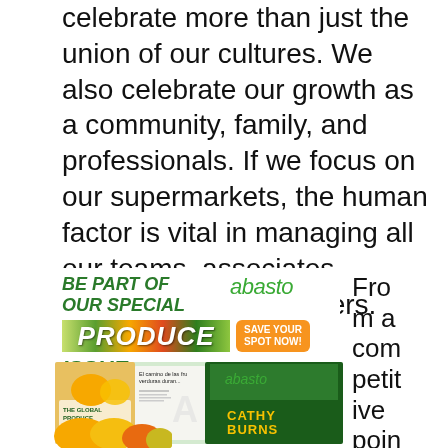celebrate more than just the union of our cultures. We also celebrate our growth as a community, family, and professionals. If we focus on our supermarkets, the human factor is vital in managing all our teams, associates, managers, and suppliers.
[Figure (illustration): Abasto magazine advertisement for the Produce Issue, with 'BE PART OF OUR SPECIAL PRODUCE ISSUE' in green bold italic text, abasto logo in green, 'SAVE YOUR SPOT NOW!' orange button, and magazine mockup images showing The Global Produce & Floral Show logo, produce imagery, and Cathy Burns text.]
From a competitive poin